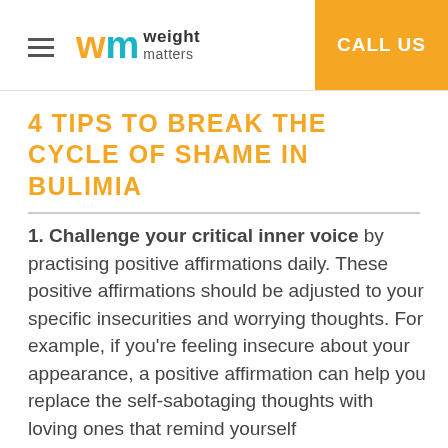wm weight matters | CALL US
4 TIPS TO BREAK THE CYCLE OF SHAME IN BULIMIA
1. Challenge your critical inner voice by practising positive affirmations daily. These positive affirmations should be adjusted to your specific insecurities and worrying thoughts. For example, if you're feeling insecure about your appearance, a positive affirmation can help you replace the self-sabotaging thoughts with loving ones that remind yourself